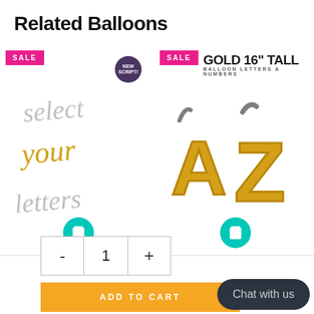Related Balloons
[Figure (photo): Script balloon letters product showing 'select your letters' in gold and silver script. Has a SALE badge and NEW SCRIPT! badge.]
[Figure (photo): Gold 16" tall balloon letters A-Z product image. Has a SALE badge.]
1
ADD TO CART
Chat with us